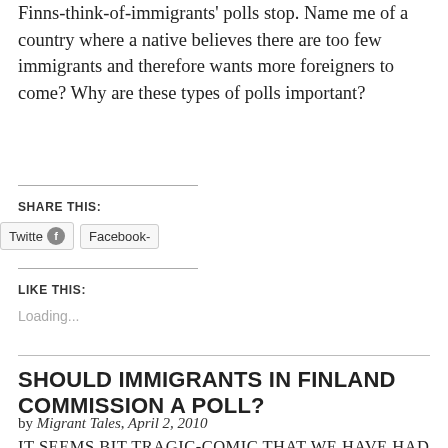Finns-think-of-immigrants polls stop. Name me of a country where a native believes there are too few immigrants and therefore wants more foreigners to come? Why are these types of polls important?
SHARE THIS:
[Figure (screenshot): Share buttons showing Twitter and Facebook]
LIKE THIS:
Loading...
SHOULD IMMIGRANTS IN FINLAND COMMISSION A POLL?
by Migrant Tales, April 2, 2010
It seems bit tragic-comic that we have had two